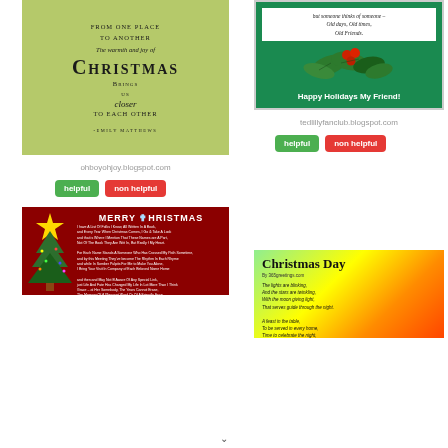[Figure (illustration): Christmas card on green/yellow background with text: From one place to another, The warmth and joy of CHRISTMAS, Brings us closer to each other. -Emily Matthews]
[Figure (illustration): Christmas card with holly leaves and berries on green background, text: but someone thinks of someone – Old days, Old times, Old Friends. Happy Holidays My Friend!]
ohboyohjoy.blogspot.com
tedlillyfanclub.blogspot.com
helpful
non helpful
helpful
non helpful
[Figure (illustration): Merry Christmas card with red background, Christmas tree, star, and poem text about names in a book and special people.]
[Figure (illustration): Christmas Day card with colorful gradient background and poem: The lights are blinking, And the stars are twinkling, With the moon giving light, That serves guide through the night. A feast in the table, To be served in every home, Time to celebrate the night.]